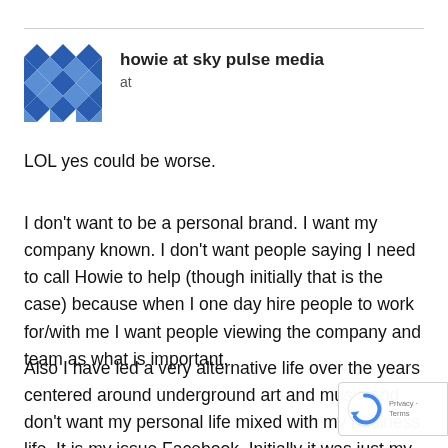[Figure (logo): Blue geometric/diamond pattern avatar icon for howie at sky pulse media]
howie at sky pulse media
at
LOL yes could be worse.
I don't want to be a personal brand. I want my company known. I don't want people saying I need to call Howie to help (though initially that is the case) because when I one day hire people to work for/with me I want people viewing the company and team as what is important.
Also I have led a very alternative life over the years centered around underground art and music and don't want my personal life mixed with my business life. It is my issue Facebook. Initially it was just my friends/social network mostly from Los Angeles where I lived 17 years. Photo